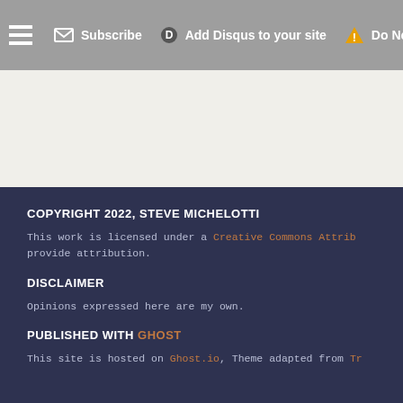Subscribe | Add Disqus to your site | Do Not Sell M...
COPYRIGHT 2022, STEVE MICHELOTTI
This work is licensed under a Creative Commons Attrib... provide attribution.
DISCLAIMER
Opinions expressed here are my own.
PUBLISHED WITH GHOST
This site is hosted on Ghost.io, Theme adapted from Tr...